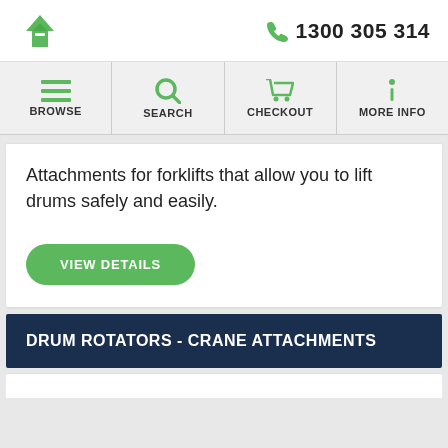1300 305 314
Attachments for forklifts that allow you to lift drums safely and easily.
VIEW DETAILS
DRUM ROTATORS - CRANE ATTACHMENTS